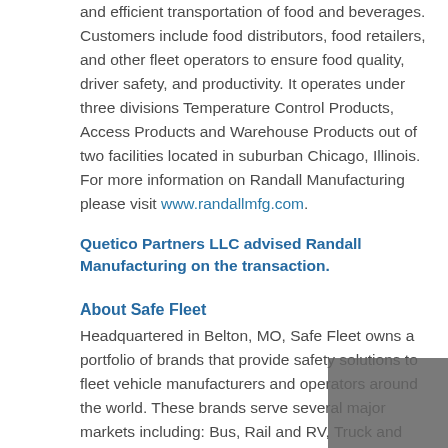and efficient transportation of food and beverages. Customers include food distributors, food retailers, and other fleet operators to ensure food quality, driver safety, and productivity. It operates under three divisions Temperature Control Products, Access Products and Warehouse Products out of two facilities located in suburban Chicago, Illinois. For more information on Randall Manufacturing please visit www.randallmfg.com.
Quetico Partners LLC advised Randall Manufacturing on the transaction.
About Safe Fleet
Headquartered in Belton, MO, Safe Fleet owns a portfolio of brands that provide safety solutions to fleet vehicle manufacturers and operators around the world. These brands serve several major markets including: Bus, Rail and RV, Truck and Trailer, Work Truck, Emergency, Waste, and Industrial and Military. Within Truck and Trailer, the ROM and Bustin brands provide a variety of access and safety products specific to over the road semi-trailers, including